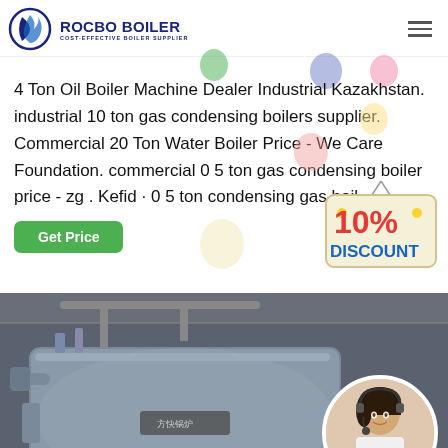[Figure (logo): Rocbo Boiler logo with flame/crescent icon and text 'ROCBO BOILER - COST-EFFECTIVE BOILER SUPPLIER']
4 Ton Oil Boiler Machine Dealer Industrial Kazakhstan. industrial 10 ton gas condensing boilers supplier. Commercial 20 Ton Water Boiler Price - We Care Foundation. commercial 0 5 ton gas condensing boiler price - zg . Kefid · 0 5 ton condensing gas boil...
[Figure (infographic): Green 'Get Price' button on left, decorative balloons, and a 10% DISCOUNT badge on the right with red and blue text on cream-colored hanging sign]
[Figure (photo): Industrial boiler equipment in a factory setting with Chinese text label on the boiler, and a circular inset photo of a female customer service representative wearing a headset]